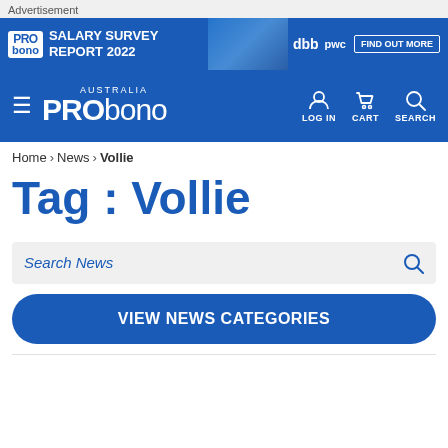Advertisement
[Figure (screenshot): Blue advertising banner for PRO bono Australia Salary Survey Report 2022 with city skyline image, dbb and pwc logos, and FIND OUT MORE button]
PRO bono AUSTRALIA — LOG IN CART SEARCH navigation bar
Home > News > Vollie
Tag : Vollie
Search News
VIEW NEWS CATEGORIES